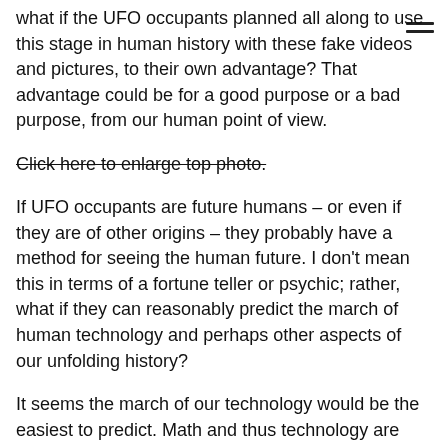what if the UFO occupants planned all along to use this stage in human history with these fake videos and pictures, to their own advantage? That advantage could be for a good purpose or a bad purpose, from our human point of view.
Click here to enlarge top photo.
If UFO occupants are future humans – or even if they are of other origins – they probably have a method for seeing the human future. I don't mean this in terms of a fortune teller or psychic; rather, what if they can reasonably predict the march of human technology and perhaps other aspects of our unfolding history?
It seems the march of our technology would be the easiest to predict. Math and thus technology are more "set in stone" than human politics and social